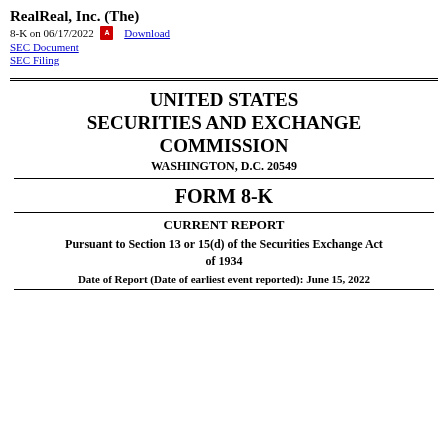RealReal, Inc. (The)
8-K on 06/17/2022  Download
SEC Document
SEC Filing
UNITED STATES SECURITIES AND EXCHANGE COMMISSION
WASHINGTON, D.C. 20549
FORM 8-K
CURRENT REPORT
Pursuant to Section 13 or 15(d) of the Securities Exchange Act of 1934
Date of Report (Date of earliest event reported): June 15, 2022